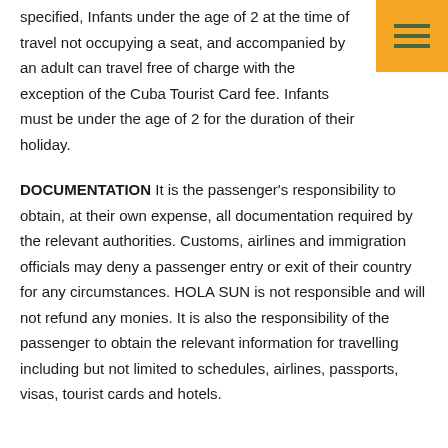specified, Infants under the age of 2 at the time of travel not occupying a seat, and accompanied by an adult can travel free of charge with the exception of the Cuba Tourist Card fee. Infants must be under the age of 2 for the duration of their holiday.
DOCUMENTATION It is the passenger's responsibility to obtain, at their own expense, all documentation required by the relevant authorities. Customs, airlines and immigration officials may deny a passenger entry or exit of their country for any circumstances. HOLA SUN is not responsible and will not refund any monies. It is also the responsibility of the passenger to obtain the relevant information for travelling including but not limited to schedules, airlines, passports, visas, tourist cards and hotels.